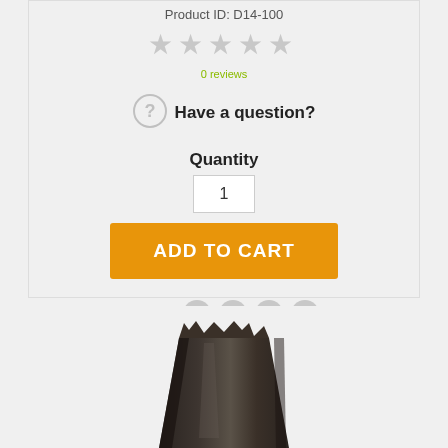Product ID: D14-100
[Figure (other): 5 grey star rating icons (empty/unrated)]
0 reviews
Have a question?
Quantity
1
ADD TO CART
SHARE:
[Figure (other): Social media share icons: Facebook, Twitter, Pinterest, Google+]
[Figure (photo): Dark brown/black metallic product bag or pouch shown at the bottom of the page]